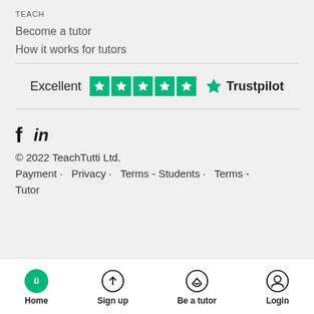TEACH
Become a tutor
How it works for tutors
[Figure (logo): Trustpilot Excellent rating with 5 green star boxes and Trustpilot logo]
[Figure (infographic): Social media icons: Facebook (f) and LinkedIn (in)]
© 2022 TeachTutti Ltd.
Payment · Privacy · Terms - Students · Terms - Tutor
[Figure (infographic): Bottom navigation bar with Home (active, teal circle), Sign up, Be a tutor, Login icons and labels]